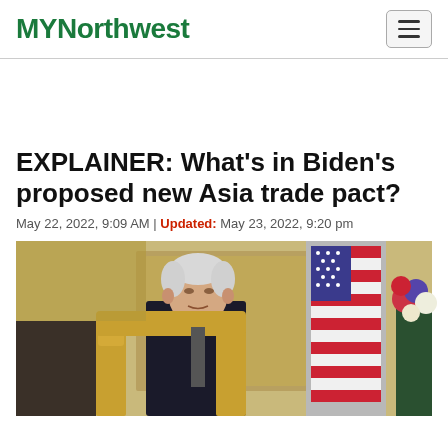MYNorthwest
EXPLAINER: What's in Biden's proposed new Asia trade pact?
May 22, 2022, 9:09 AM | Updated: May 23, 2022, 9:20 pm
[Figure (photo): Photo of President Biden seated in an ornate gold chair at what appears to be a formal diplomatic setting, with an American flag visible in the background along with flowers.]